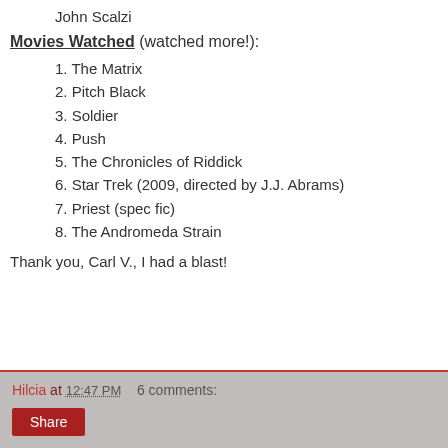John Scalzi
Movies Watched (watched more!):
1. The Matrix
2. Pitch Black
3. Soldier
4. Push
5. The Chronicles of Riddick
6. Star Trek (2009, directed by J.J. Abrams)
7. Priest (spec fic)
8. The Andromeda Strain
Thank you, Carl V., I had a blast!
Hilcia at 12:47 PM   6 comments: